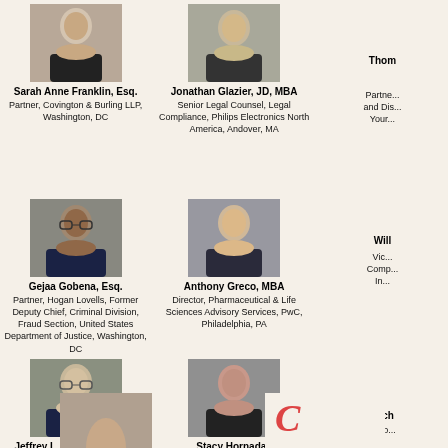[Figure (photo): Headshot of Sarah Anne Franklin, Esq.]
Sarah Anne Franklin, Esq.
Partner, Covington & Burling LLP, Washington, DC
[Figure (photo): Headshot of Jonathan Glazier, JD, MBA]
Jonathan Glazier, JD, MBA
Senior Legal Counsel, Legal Compliance, Philips Electronics North America, Andover, MA
[Figure (photo): Partial headshot of Thomas (cropped)]
Thom...
Partne...
and Dis...
Your...
[Figure (photo): Headshot of Gejaa Gobena, Esq.]
Gejaa Gobena, Esq.
Partner, Hogan Lovells, Former Deputy Chief, Criminal Division, Fraud Section, United States Department of Justice, Washington, DC
[Figure (photo): Headshot of Anthony Greco, MBA]
Anthony Greco, MBA
Director, Pharmaceutical & Life Sciences Advisory Services, PwC, Philadelphia, PA
Will...
Vice...
Comp...
In...
[Figure (photo): Headshot of Jeffrey L. Handwerker, JD]
Jeffrey L. Handwerker, JD
Partner and Head, FDA and Healthcare Practice, Arnold & Porter, Washington, DC
[Figure (photo): Headshot of Stacy Hornaday]
Stacy Hornaday
Senior Manager, Deloitte & Touche LLP, Chicago, IL
Mich...
Glob...
[Figure (photo): Partial headshot at bottom left]
[Figure (photo): Partial logo or image at bottom center]